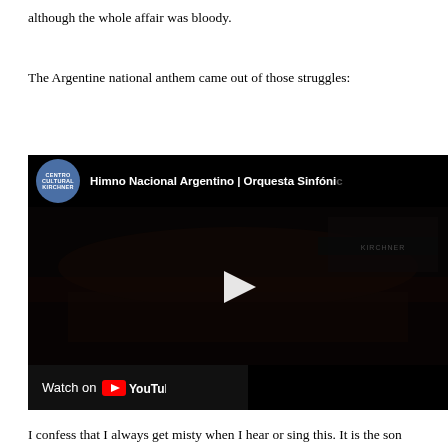although the whole affair was bloody.
The Argentine national anthem came out of those struggles:
[Figure (screenshot): YouTube video embed showing 'Himno Nacional Argentino | Orquesta Sinfónica' from Centro Cultural Kirchner channel. Dark video thumbnail showing an orchestra in a concert hall. A play button is centered on the video. Below the video is a 'Watch on YouTube' bar.]
I confess that I always get misty when I hear or sing this. It is the son